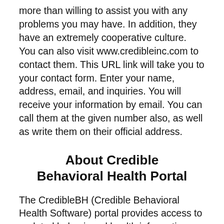more than willing to assist you with any problems you may have. In addition, they have an extremely cooperative culture. You can also visit www.credibleinc.com to contact them. This URL link will take you to your contact form. Enter your name, address, email, and inquiries. You will receive your information by email. You can call them at the given number also, as well as write them on their official address.
About Credible Behavioral Health Portal
The CredibleBH (Credible Behavioral Health Software) portal provides access to updated behavioural health information. Matthew M. Derman founded Credible Behavioral Health